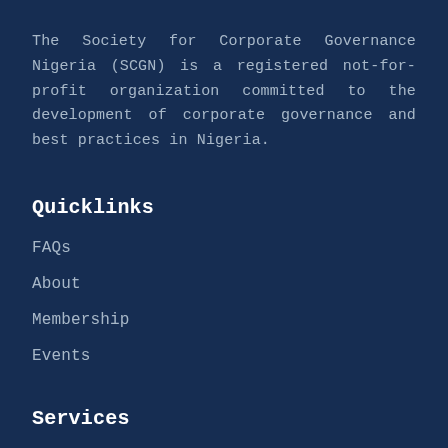The Society for Corporate Governance Nigeria (SCGN) is a registered not-for-profit organization committed to the development of corporate governance and best practices in Nigeria.
Quicklinks
FAQs
About
Membership
Events
Services